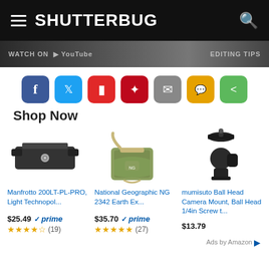SHUTTERBUG
[Figure (screenshot): Banner strip with YouTube and Editing Tips text]
[Figure (infographic): Social sharing buttons: Facebook, Twitter, Flipboard, Pinterest, Email, SMS, Share]
Shop Now
[Figure (photo): Manfrotto 200LT-PL-PRO quick release plate]
Manfrotto 200LT-PL-PRO, Light Technopol...
$25.49 prime ★★★★☆ (19)
[Figure (photo): National Geographic NG 2342 Earth Explorer small shoulder bag in olive green]
National Geographic NG 2342 Earth Ex...
$35.70 prime ★★★★★ (27)
[Figure (photo): mumisuto Ball Head Camera Mount black]
mumisuto Ball Head Camera Mount, Ball Head 1/4in Screw t...
$13.79
Ads by Amazon